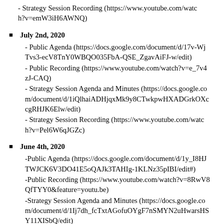- Strategy Session Recording (https://www.youtube.com/watch?v=emW3iH6AWNQ)
July 2nd, 2020
- Public Agenda (https://docs.google.com/document/d/17v-WjTvs3-ecV8TnY0WBQO035FbA-QSE_ZgavAiFJ-w/edit)
- Public Recording (https://www.youtube.com/watch?v=e_7v4zJ-CAQ)
- Strategy Session Agenda and Minutes (https://docs.google.com/document/d/1iQlhaiADHjqxMk9y8CTwkpwHXADGrkOXccgRHJK6Elw/edit)
- Strategy Session Recording (https://www.youtube.com/watch?v=Pel6W6qJGZc)
June 4th, 2020
-Public Agenda (https://docs.google.com/document/d/1y_I8HJTWJCK6V3DO41E5oQAJk3TAHIg-1KLNz35pIBI/edit#)
-Public Recording (https://www.youtube.com/watch?v=8RwV8QfTYY0&feature=youtu.be)
-Strategy Session Agenda and Minutes (https://docs.google.com/document/d/1Ij7dh_fcTxtAGofuOYgF7nSMYN2uHwarsHSY11XISbQ/edit)
-Strategy Session Recording (https://www.youtube.com/watch?